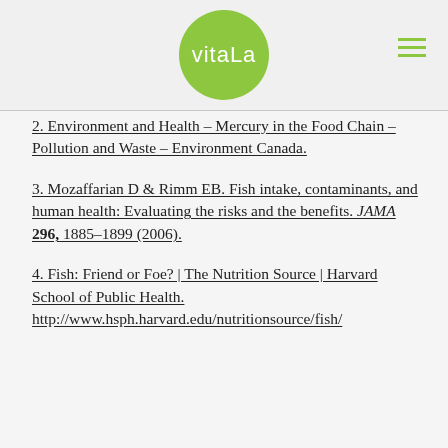[Figure (logo): Vitala logo: green circle with white text 'vitala' inside, hamburger menu icon top right]
2. Environment and Health – Mercury in the Food Chain – Pollution and Waste – Environment Canada.
3. Mozaffarian D & Rimm EB. Fish intake, contaminants, and human health: Evaluating the risks and the benefits. JAMA 296, 1885–1899 (2006).
4. Fish: Friend or Foe? | The Nutrition Source | Harvard School of Public Health. http://www.hsph.harvard.edu/nutritionsource/fish/